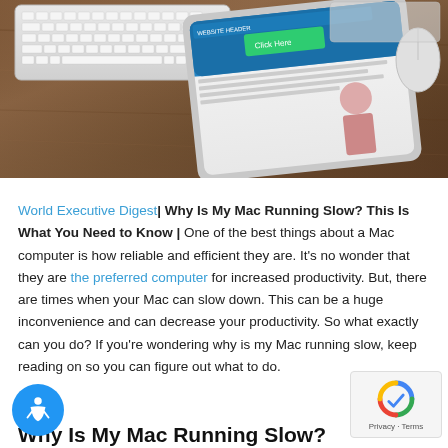[Figure (photo): Photo of a tablet showing a website on a wooden desk with a keyboard and mouse]
World Executive Digest| Why Is My Mac Running Slow? This Is What You Need to Know | One of the best things about a Mac computer is how reliable and efficient they are. It's no wonder that they are the preferred computer for increased productivity. But, there are times when your Mac can slow down. This can be a huge inconvenience and can decrease your productivity. So what exactly can you do? If you're wondering why is my Mac running slow, keep reading on so you can figure out what to do.
Why Is My Mac Running Slow?